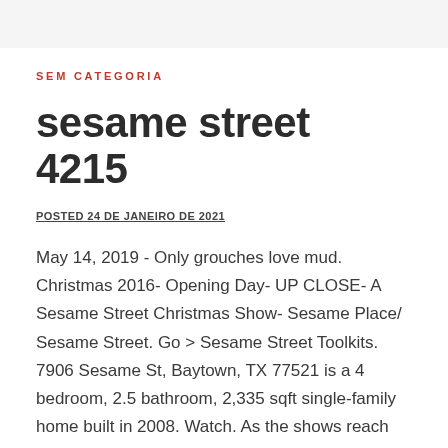SEM CATEGORIA
sesame street 4215
POSTED 24 DE JANEIRO DE 2021
May 14, 2019 - Only grouches love mud. Christmas 2016- Opening Day- UP CLOSE- A Sesame Street Christmas Show- Sesame Place/ Sesame Street. Go > Sesame Street Toolkits. 7906 Sesame St, Baytown, TX 77521 is a 4 bedroom, 2.5 bathroom, 2,335 sqft single-family home built in 2008. Watch. As the shows reach children in various areas of the country, it is no wonder that they are enjoying the program. It is a wonderful learning tool and entertainment for young minds. Murray tries